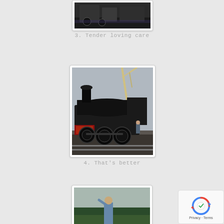[Figure (photo): Partial view of top of a steam locomotive being worked on, cropped at top of page]
3. Tender loving care
[Figure (photo): Black steam locomotive on tracks outdoors with crane visible in background and a person standing beside it]
4. That’s better
[Figure (photo): Partial view of a person standing in a field with trees in background, cropped at bottom of page]